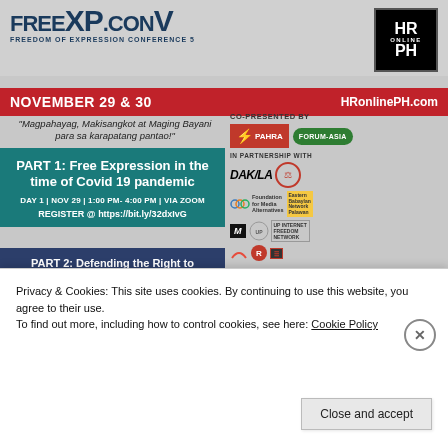[Figure (logo): FreeXP.Con V – Freedom of Expression Conference 5 logo with HR Online PH logo]
NOVEMBER 29 & 30   HRonlinePH.com
"Magpahayag, Makisangkot at Maging Bayani para sa karapatang pantao!"
CO-PRESENTED BY — PAHRA, FORUM-ASIA
PART 1: Free Expression in the time of Covid 19 pandemic
DAY 1 | NOV 29 | 1:00 PM- 4:00 PM | VIA ZOOM
REGISTER @ https://bit.ly/32dxIvG
IN PARTNERSHIP WITH — DAKILA, Foundation for Media Alternatives, Eastern..., ML, UP Internet Freedom Network
PART 2: Defending the Right to Freedom of Expression by Learning Lessons from Free Speech Heroes
Privacy & Cookies: This site uses cookies. By continuing to use this website, you agree to their use.
To find out more, including how to control cookies, see here: Cookie Policy
Close and accept